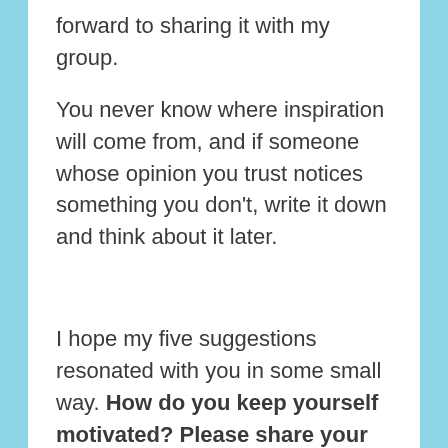forward to sharing it with my group.
You never know where inspiration will come from, and if someone whose opinion you trust notices something you don't, write it down and think about it later.
I hope my five suggestions resonated with you in some small way. How do you keep yourself motivated? Please share your methods below.